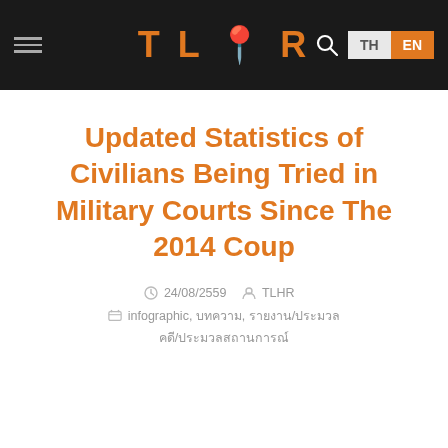TLHR — TH EN navigation header
Updated Statistics of Civilians Being Tried in Military Courts Since The 2014 Coup
24/08/2559  TLHR  infographic, บทความ, รายงาน/ประมวลคดี/ประมวลสถานการณ์